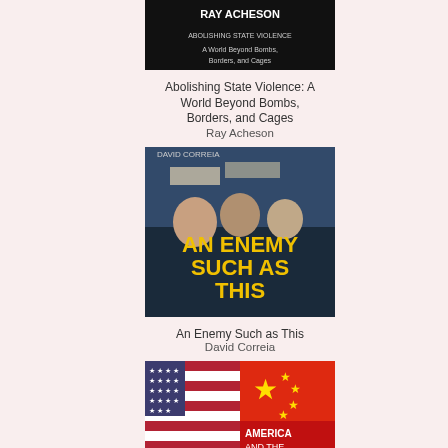[Figure (illustration): Book cover: Abolishing State Violence: A World Beyond Bombs, Borders, and Cages by Ray Acheson - dark cover with author name]
Abolishing State Violence: A World Beyond Bombs, Borders, and Cages
Ray Acheson
[Figure (illustration): Book cover: An Enemy Such as This by David Correia - shows protesters with yellow title text]
An Enemy Such as This
David Correia
[Figure (illustration): Book cover: America and the China Threat - shows US and Chinese flags]
Agrarian Crisis and Climate Ca... Washington
July 8th, 2018 by Colin Todhunter
Diet, Ignorance and the Environ...
July 2nd, 2018 by Graham Peeble
« Previous articles